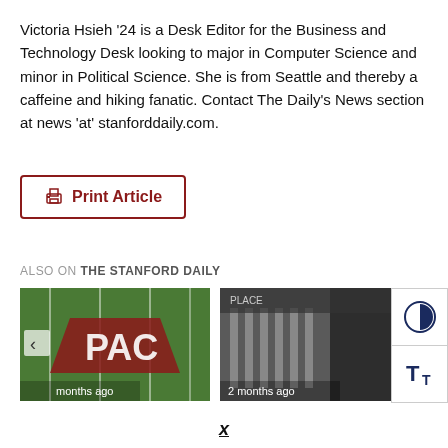Victoria Hsieh '24 is a Desk Editor for the Business and Technology Desk looking to major in Computer Science and minor in Political Science. She is from Seattle and thereby a caffeine and hiking fanatic. Contact The Daily's News section at news 'at' stanforddaily.com.
Print Article
ALSO ON THE STANFORD DAILY
[Figure (photo): Thumbnail image of a football field with red PAC logo and white yard lines visible]
months ago
[Figure (photo): Thumbnail image of a building with columns, partially dark]
2 months ago